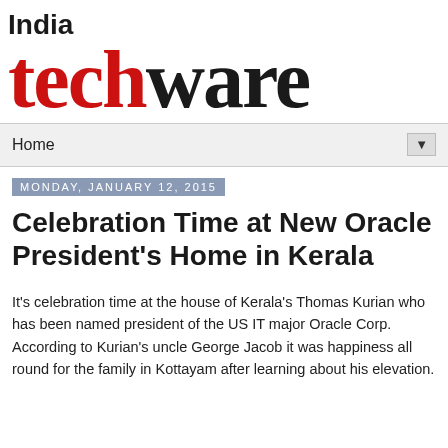[Figure (logo): India Techware logo with 'India' in black bold sans-serif and 'techware' in large serif font with 'tech' in red and 'ware' in black]
Home ▼
Monday, January 12, 2015
Celebration Time at New Oracle President's Home in Kerala
It's celebration time at the house of Kerala's Thomas Kurian who has been named president of the US IT major Oracle Corp.
According to Kurian's uncle George Jacob it was happiness all round for the family in Kottayam after learning about his elevation.